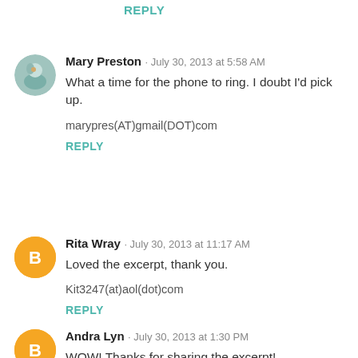REPLY
Mary Preston · July 30, 2013 at 5:58 AM
What a time for the phone to ring. I doubt I'd pick up.
marypres(AT)gmail(DOT)com
REPLY
Rita Wray · July 30, 2013 at 11:17 AM
Loved the excerpt, thank you.
Kit3247(at)aol(dot)com
REPLY
Andra Lyn · July 30, 2013 at 1:30 PM
WOW! Thanks for sharing the excerpt!
andralyn7 AT gmail DOT com